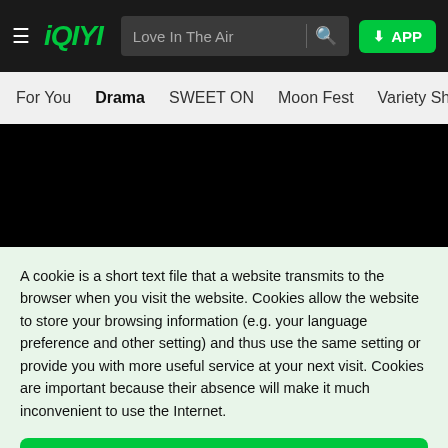[Figure (screenshot): iQIYI website navigation bar with hamburger menu, iQIYI logo, search bar with 'Love In The Air' placeholder, and APP button]
[Figure (screenshot): Navigation menu with items: For You, Drama (bold/active), SWEET ON, Moon Fest, Variety Sh...]
[Figure (screenshot): Hero black area showing iQIYI logo in green]
A cookie is a short text file that a website transmits to the browser when you visit the website. Cookies allow the website to store your browsing information (e.g. your language preference and other setting) and thus use the same setting or provide you with more useful service at your next visit. Cookies are important because their absence will make it much inconvenient to use the Internet.
Accept all cookies
Cookie setting